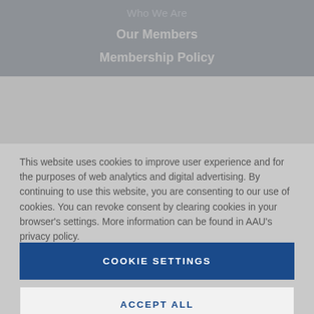Who We Are
Our Members
Membership Policy
This website uses cookies to improve user experience and for the purposes of web analytics and digital advertising. By continuing to use this website, you are consenting to our use of cookies. You can revoke consent by clearing cookies in your browser's settings. More information can be found in AAU's privacy policy.
COOKIE SETTINGS
ACCEPT ALL